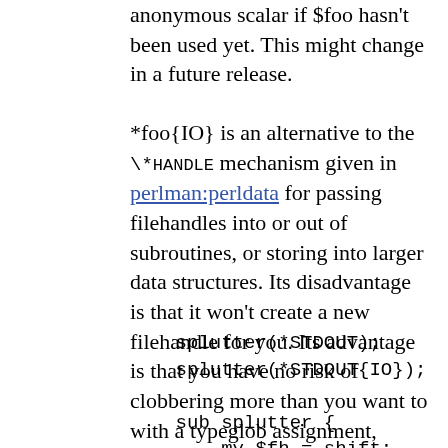anonymous scalar if $foo hasn't been used yet. This might change in a future release.
*foo{IO} is an alternative to the \*HANDLE mechanism given in perlman:perldata for passing filehandles into or out of subroutines, or storing into larger data structures. Its disadvantage is that it won't create a new filehandle for you. Its advantage is that you have no risk of clobbering more than you want to with a typeglob assignment, although if you assign to a scalar instead of a typeglob, you're ok.
splutter(*STDOUT);
splutter(*STDOUT{IO});

sub splutter {
    my $fh = shift;
    print $fh "her um well a hmmm\n";
}